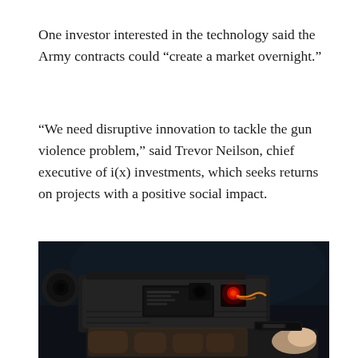One investor interested in the technology said the Army contracts could “create a market overnight.”
“We need disruptive innovation to tackle the gun violence problem,” said Trevor Neilson, chief executive of i(x) investments, which seeks returns on projects with a positive social impact.
[Figure (photo): Close-up photograph of a person's hands holding a rifle or firearm, showing electronic components including a red LED light and wiring inside the receiver/body of the gun, against a dark background.]